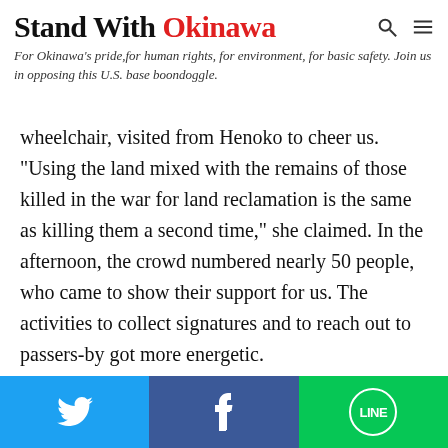Stand With Okinawa — For Okinawa's pride, for human rights, for environment, for basic safety. Join us in opposing this U.S. base boondoggle.
wheelchair, visited from Henoko to cheer us. "Using the land mixed with the remains of those killed in the war for land reclamation is the same as killing them a second time," she claimed. In the afternoon, the crowd numbered nearly 50 people, who came to show their support for us. The activities to collect signatures and to reach out to passers-by got more energetic.
In addition to Gushiken-san, three people, including myself, participated in the 6-day hunger strike. Gushiken made three appeals: 1) Okinawa Defense Bureau should abandon the plan to collect earth and sand in Southern…